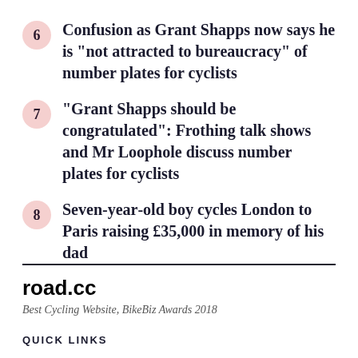6 Confusion as Grant Shapps now says he is "not attracted to bureaucracy" of number plates for cyclists
7 "Grant Shapps should be congratulated": Frothing talk shows and Mr Loophole discuss number plates for cyclists
8 Seven-year-old boy cycles London to Paris raising £35,000 in memory of his dad
road.cc
Best Cycling Website, BikeBiz Awards 2018
QUICK LINKS